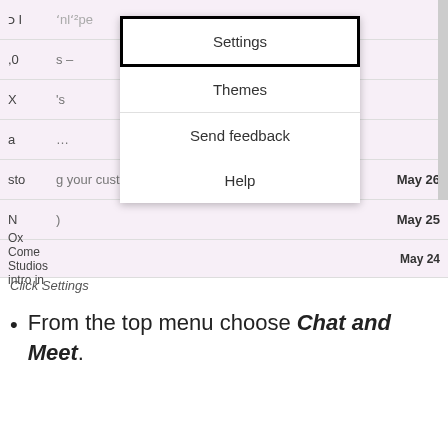[Figure (screenshot): Gmail inbox screenshot showing a dropdown menu with options: Settings (highlighted/selected), Themes, Send feedback, Help. Behind the menu, an email list is partially visible with dates May 26, May 25, May 24. A scrollbar is on the right side.]
Click Settings
From the top menu choose Chat and Meet.